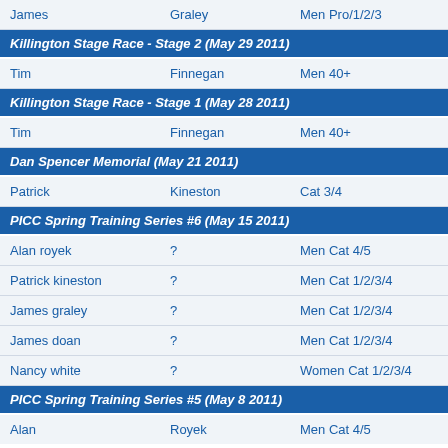James   Graley   Men Pro/1/2/3
Killington Stage Race - Stage 2 (May 29 2011)
Tim   Finnegan   Men 40+
Killington Stage Race - Stage 1 (May 28 2011)
Tim   Finnegan   Men 40+
Dan Spencer Memorial (May 21 2011)
Patrick   Kineston   Cat 3/4
PICC Spring Training Series #6 (May 15 2011)
Alan royek   ?   Men Cat 4/5
Patrick kineston   ?   Men Cat 1/2/3/4
James graley   ?   Men Cat 1/2/3/4
James doan   ?   Men Cat 1/2/3/4
Nancy white   ?   Women Cat 1/2/3/4
PICC Spring Training Series #5 (May 8 2011)
Alan   Royek   Men Cat 4/5